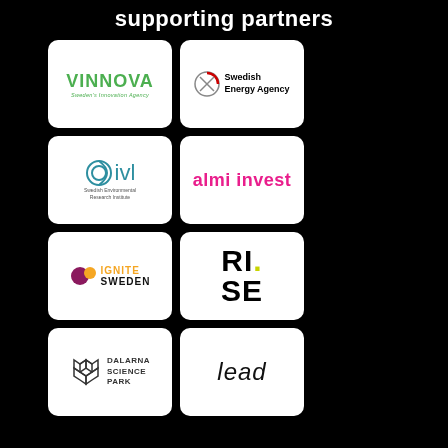supporting partners
[Figure (logo): VINNOVA - Sweden's Innovation Agency logo]
[Figure (logo): Swedish Energy Agency logo]
[Figure (logo): IVL Swedish Environmental Research Institute logo]
[Figure (logo): almi invest logo]
[Figure (logo): Ignite Sweden logo]
[Figure (logo): RISE (Research Institutes of Sweden) logo]
[Figure (logo): Dalarna Science Park logo]
[Figure (logo): lead logo]